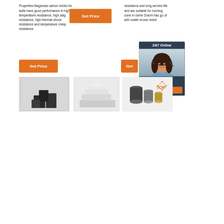Properties:Magnesia carbon bricks for ladle have good performance in high temperature resistance, high slag resistance, high thermal shock resistance and temperature creep resistance.
[Figure (other): Orange 'Get Price' button]
resistance and long service life and are suitable for burning zone in cement kiln. Dolomite brick has good property of adhesive coating, anti-erosion and resist...
[Figure (other): 24/7 Online chat widget with agent photo, 'Click here for free chat!' text and QUOTATION button]
[Figure (other): Orange 'Get Price' button (bottom left)]
[Figure (other): Orange 'Get' button (bottom right, partially visible)]
[Figure (photo): Dark gray refractory carbon bricks stacked]
[Figure (photo): White/light gray refractory shaped bricks]
[Figure (photo): Set of cylindrical refractory nozzle pieces with TOP logo overlay]